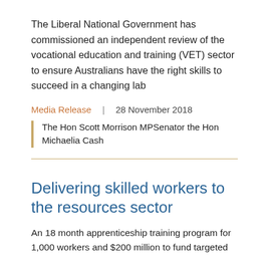The Liberal National Government has commissioned an independent review of the vocational education and training (VET) sector to ensure Australians have the right skills to succeed in a changing lab
Media Release  |  28 November 2018
The Hon Scott Morrison MPSenator the Hon Michaelia Cash
Delivering skilled workers to the resources sector
An 18 month apprenticeship training program for 1,000 workers and $200 million to fund targeted